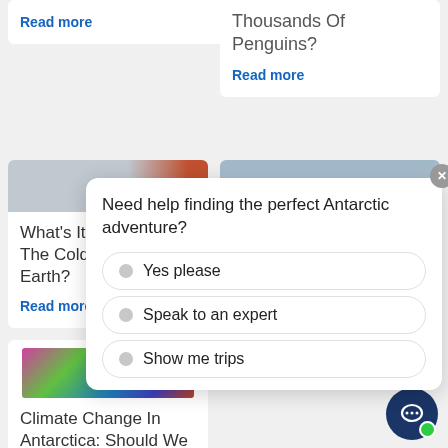Read more
Thousands Of Penguins?
Read more
[Figure (photo): Person in red jacket in snowy expedition setting]
[Figure (photo): Sky and clouds over Antarctic landscape]
What's It Like To Eat In The Coldest Place On Earth?
Read more
Scientists named
Read more
Need help finding the perfect Antarctic adventure?
Yes please
Speak to an expert
Show me trips
[Figure (map): Colorful topographic/climate map of Antarctica]
Climate Change In Antarctica: Should We Be Worried?